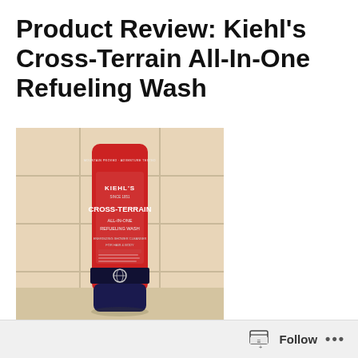Product Review: Kiehl's Cross-Terrain All-In-One Refueling Wash
[Figure (photo): Red tube of Kiehl's Cross-Terrain All-In-One Refueling Wash product standing upright on a tiled bathroom surface with beige/cream tile background. The tube has a dark navy blue cap at the bottom and features the Kiehl's logo and product name prominently on the red packaging.]